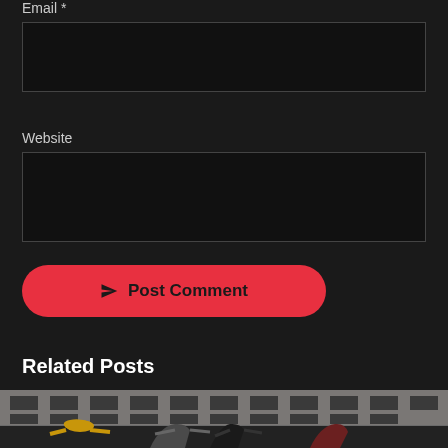Email *
Website
Post Comment
Related Posts
[Figure (photo): Street scene photo showing people dancing or posing with arms outstretched in front of a brick apartment building facade]